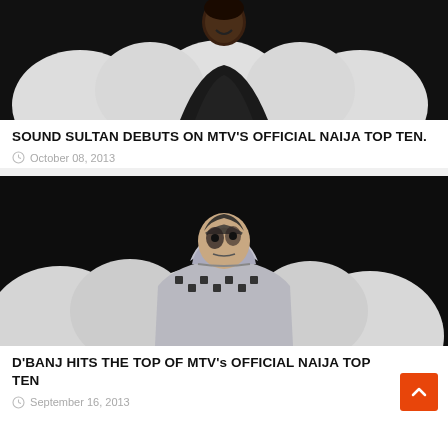[Figure (photo): Person smiling against dark background with white round cushions/chairs]
SOUND SULTAN DEBUTS ON MTV’S OFFICIAL NAIJA TOP TEN.
October 08, 2013
[Figure (photo): Person wearing hooded patterned jacket with face paint, against dark background with white round cushions]
D’BANJ HITS THE TOP OF MTV’s OFFICIAL NAIJA TOP TEN
September 16, 2013